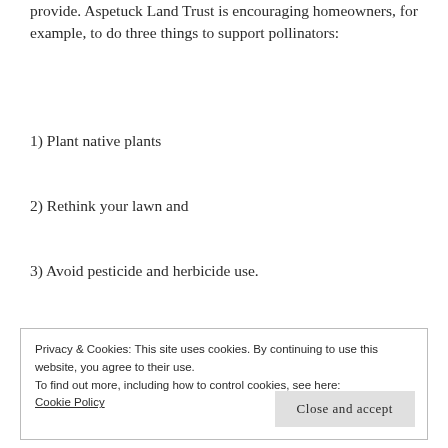provide. Aspetuck Land Trust is encouraging homeowners, for example, to do three things to support pollinators:
1) Plant native plants
2) Rethink your lawn and
3) Avoid pesticide and herbicide use.
Privacy & Cookies: This site uses cookies. By continuing to use this website, you agree to their use.
To find out more, including how to control cookies, see here:
Cookie Policy
Close and accept